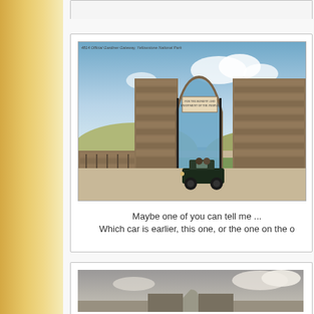[Figure (photo): Partial top edge of a card/postcard, barely visible at top of page]
[Figure (photo): Colorized postcard of the Official Gardiner Gateway, Yellowstone National Park, showing the stone arch entrance with an early automobile passing through]
Maybe one of you can tell me ... Which car is earlier, this one, or the one on the o
[Figure (photo): Black and white photograph of the Gardiner Gateway arch at Yellowstone National Park, partially visible at bottom of page]